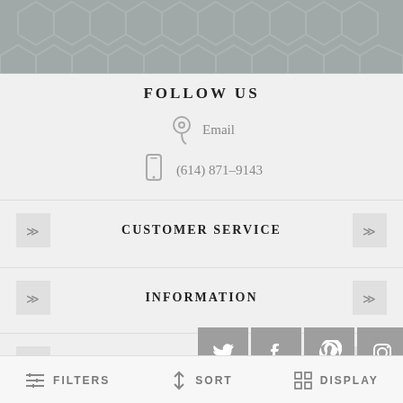[Figure (illustration): Gray hexagonal pattern header background]
FOLLOW US
Email
(614) 871-9143
CUSTOMER SERVICE
INFORMATION
MY ACCOUNT
[Figure (illustration): Social media icons: Twitter, Facebook, Pinterest, Instagram, RSS feed]
FILTERS   SORT   DISPLAY